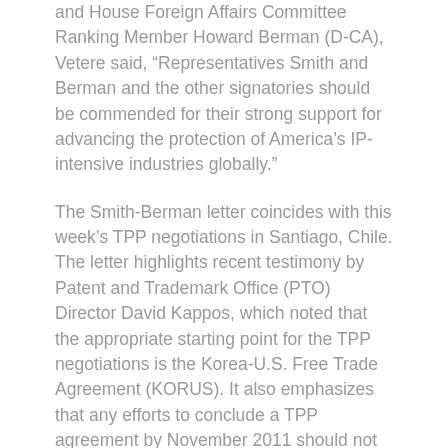and House Foreign Affairs Committee Ranking Member Howard Berman (D-CA), Vetere said, “Representatives Smith and Berman and the other signatories should be commended for their strong support for advancing the protection of America’s IP-intensive industries globally.”
The Smith-Berman letter coincides with this week’s TPP negotiations in Santiago, Chile. The letter highlights recent testimony by Patent and Trademark Office (PTO) Director David Kappos, which noted that the appropriate starting point for the TPP negotiations is the Korea-U.S. Free Trade Agreement (KORUS). It also emphasizes that any efforts to conclude a TPP agreement by November 2011 should not come at the expense of securing a high standard IP agreement.
“Representatives Smith and Berman understand the vital role that intellectual property rights play in...